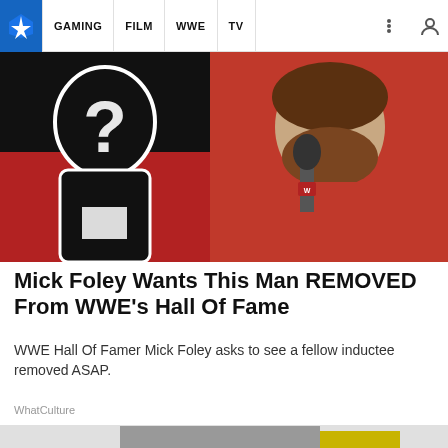GAMING | FILM | WWE | TV
[Figure (photo): Hero image showing a question mark silhouette on the left (black figure with white question mark outline) and Mick Foley on the right holding a WWE microphone, wearing a red jacket, with brown beard, speaking or talking.]
Mick Foley Wants This Man REMOVED From WWE's Hall Of Fame
WWE Hall Of Famer Mick Foley asks to see a fellow inductee removed ASAP.
WhatCulture
[Figure (photo): Partially visible image of next article, showing what appears to be clothing items (grey jacket/blazer and something yellow) at the bottom of the page.]